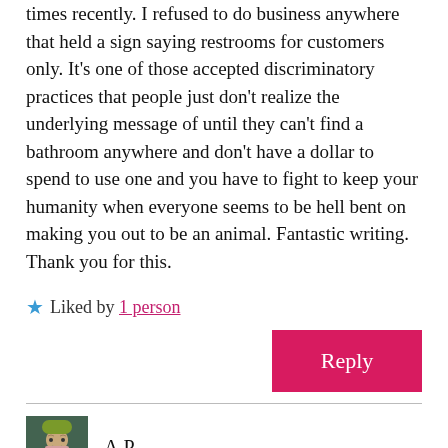times recently. I refused to do business anywhere that held a sign saying restrooms for customers only. It's one of those accepted discriminatory practices that people just don't realize the underlying message of until they can't find a bathroom anywhere and don't have a dollar to spend to use one and you have to fight to keep your humanity when everyone seems to be hell bent on making you out to be an animal. Fantastic writing. Thank you for this.
★ Liked by 1 person
Reply
A.P.